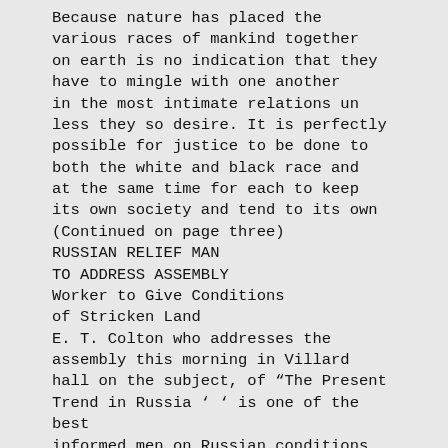Because nature has placed the various races of mankind together on earth is no indication that they have to mingle with one another in the most intimate relations un less they so desire. It is perfectly possible for justice to be done to both the white and black race and at the same time for each to keep its own society and tend to its own (Continued on page three)
RUSSIAN RELIEF MAN
TO ADDRESS ASSEMBLY
Worker to Give Conditions of Stricken Land
E. T. Colton who addresses the assembly this morning in Villard hall on the subject, of “The Present Trend in Russia ‘ ‘ is one of the best informed men on Russian conditions recording to those who know him and know his work. He recently re turned from spending tayo years in ;hat country.
While in Russia, Mr. Colton has